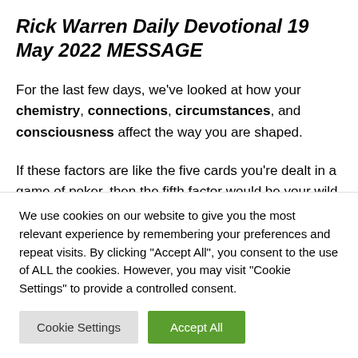Rick Warren Daily Devotional 19 May 2022 MESSAGE
For the last few days, we've looked at how your chemistry, connections, circumstances, and consciousness affect the way you are shaped.
If these factors are like the five cards you're dealt in a game of poker, then the fifth factor would be your wild card. Why?
We use cookies on our website to give you the most relevant experience by remembering your preferences and repeat visits. By clicking "Accept All", you consent to the use of ALL the cookies. However, you may visit "Cookie Settings" to provide a controlled consent.